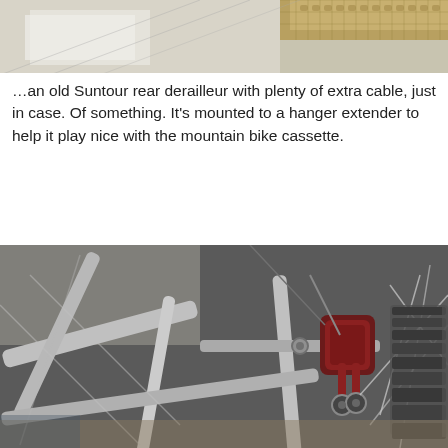[Figure (photo): Close-up photo of a bicycle rear derailleur area, showing chain, spokes, and drivetrain components from behind the wheel.]
…an old Suntour rear derailleur with plenty of extra cable, just in case. Of something. It's mounted to a hanger extender to help it play nice with the mountain bike cassette.
[Figure (photo): Close-up photo of a bicycle rear axle area showing silver frame tubes, spokes, a red/maroon rear derailleur, and a cassette sprocket on the right side.]